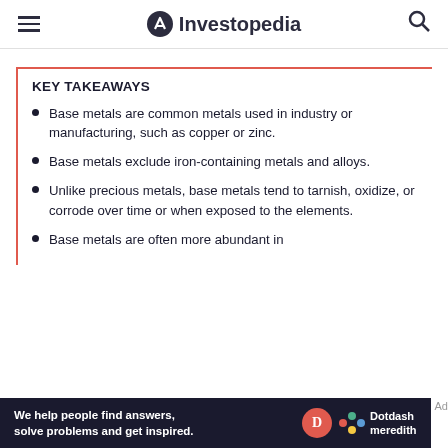Investopedia
KEY TAKEAWAYS
Base metals are common metals used in industry or manufacturing, such as copper or zinc.
Base metals exclude iron-containing metals and alloys.
Unlike precious metals, base metals tend to tarnish, oxidize, or corrode over time or when exposed to the elements.
Base metals are often more abundant in
[Figure (other): Dotdash Meredith advertisement banner: 'We help people find answers, solve problems and get inspired.' with D logo and Dotdash meredith branding]